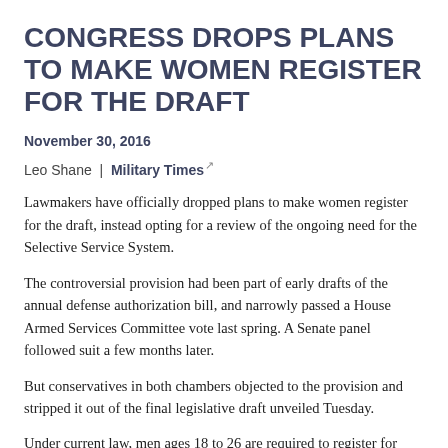CONGRESS DROPS PLANS TO MAKE WOMEN REGISTER FOR THE DRAFT
November 30, 2016
Leo Shane | Military Times
Lawmakers have officially dropped plans to make women register for the draft, instead opting for a review of the ongoing need for the Selective Service System.
The controversial provision had been part of early drafts of the annual defense authorization bill, and narrowly passed a House Armed Services Committee vote last spring. A Senate panel followed suit a few months later.
But conservatives in both chambers objected to the provision and stripped it out of the final legislative draft unveiled Tuesday.
Under current law, men ages 18 to 26 are required to register for possible involuntary military service with the Selective Service System. Women have been exempt, and past legal challenges